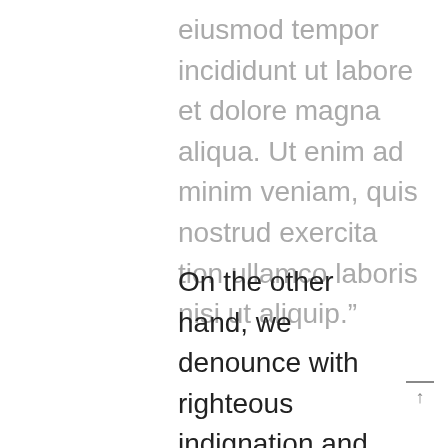eiusmod tempor incididunt ut labore et dolore magna aliqua. Ut enim ad minim veniam, quis nostrud exercita tion ullamco laboris nisi ut aliquip."
On the other hand, we denounce with righteous indignation and dislike men who are so beguiled and demoralized by the charms of pleasure of the moment, so blinded by desire, that they cannot foresee the pain and trouble that are bound to ensue; and equal blame belongs to those who fail in